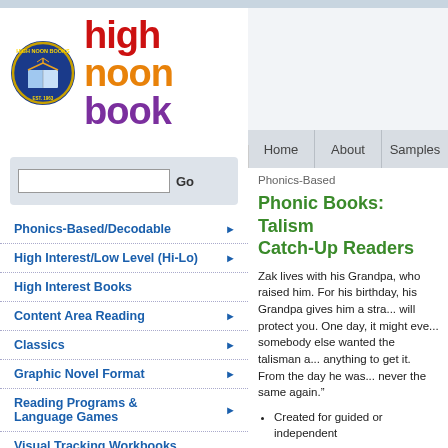[Figure (logo): High Noon Books circular logo with book and sun graphic, followed by 'high noon books' text in red, orange, and purple]
Home | About | Samples
Phonics-Based
Phonic Books: Talisman Catch-Up Readers
Zak lives with his Grandpa, who raised him. For his birthday, his Grandpa gives him a strange talisman. “It will protect you. One day, it might even save your life” somebody else wanted the talisman and would do anything to get it. From the day he was given it, life was never the same again.”
Created for guided or independent
Ideal for practicing specific decoding skills through narrative
Text is supported by color pictures
Each book focuses on a set of sounds
Action-packed stories in short books